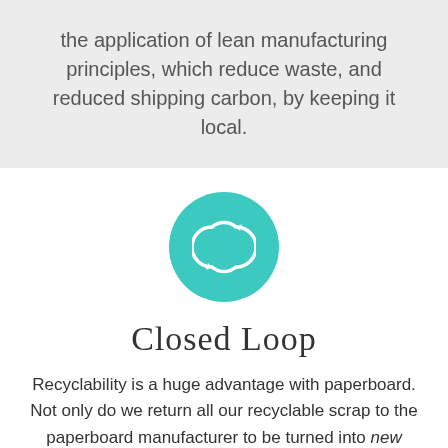the application of lean manufacturing principles, which reduce waste, and reduced shipping carbon, by keeping it local.
[Figure (illustration): Teal circular icon with two circular arrows (recycling/loop symbol) on white background]
Closed Loop
Recyclability is a huge advantage with paperboard. Not only do we return all our recyclable scrap to the paperboard manufacturer to be turned into new paperboard, but across the board, 75% of